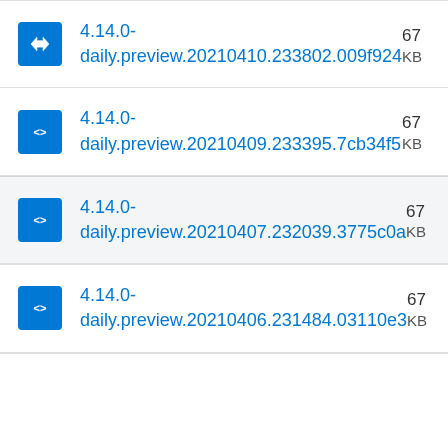4.14.0-daily.preview.20210410.233802.009f924
4.14.0-daily.preview.20210409.233395.7cb34f5
4.14.0-daily.preview.20210407.232039.3775c0a
4.14.0-daily.preview.20210406.231484.03110e3